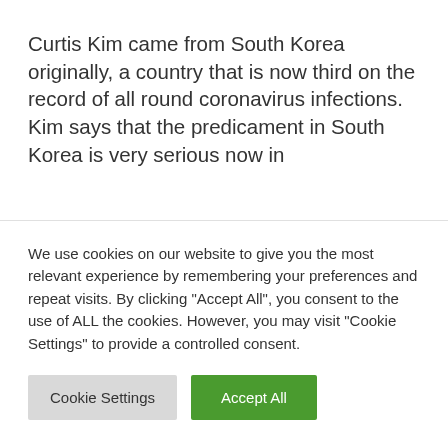Curtis Kim came from South Korea originally, a country that is now third on the record of all round coronavirus infections. Kim says that the predicament in South Korea is very serious now in
We use cookies on our website to give you the most relevant experience by remembering your preferences and repeat visits. By clicking "Accept All", you consent to the use of ALL the cookies. However, you may visit "Cookie Settings" to provide a controlled consent.